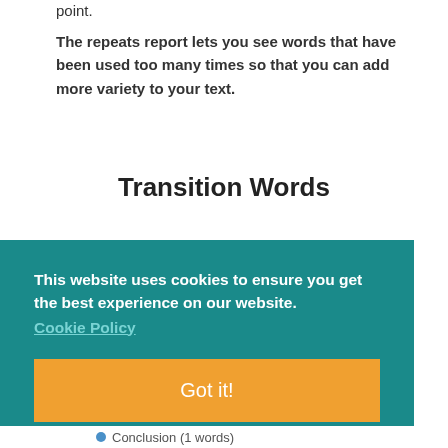point.
The repeats report lets you see words that have been used too many times so that you can add more variety to your text.
Transition Words
This website uses cookies to ensure you get the best experience on our website. Cookie Policy Got it!
Conclusion (1 words)